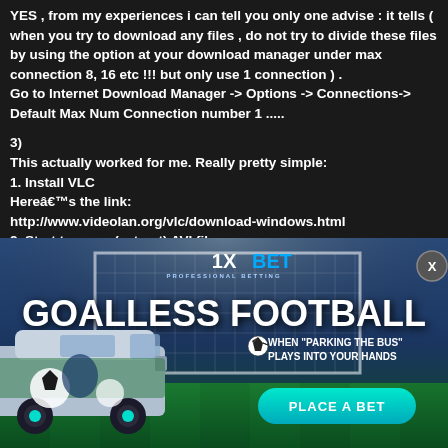YES , from my experiences i can tell you only one advise : it tells ( when you try to download any files , do not try to divide these files by using the option at your download manager under max connection 8, 16 etc !!! but only use 1 connection ) . Go to Internet Download Manager -> Options -> Connections-> Default Max Num Connection number 1 .....
3)
This actually worked for me. Really pretty simple:
1. Install VLC
Hereâs the link:
http://www.videolan.org/vlc/download-windows.html
2. Start to unrar (extract) AVI files.
3. As the files are extracting, open the started AVI file with VLC.
[Figure (infographic): 1XBET professional betting advertisement banner. Shows 'GOALLESS FOOTBALL' text with a van decorated with soccer artwork. Text reads 'WHEN PARKING THE BUS PLAYS INTO YOUR HANDS' with a 'PLACE A BET' button. Stadium background with goal net.]